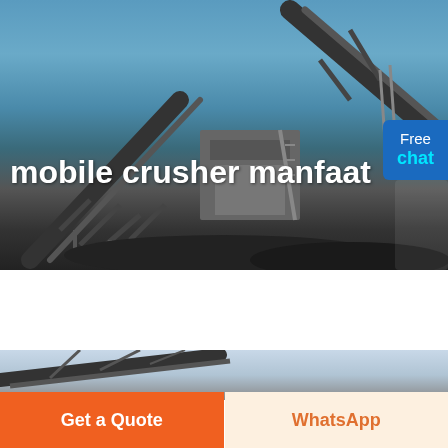[Figure (photo): Industrial mobile crusher machinery with conveyor belts photographed outdoors against a blue sky. Large metal conveyor structures and crushed stone/aggregate visible.]
mobile crusher manfaat
[Figure (photo): Partial view of conveyor belt and crane-like structure against a light sky background, second image below main banner.]
Get a Quote
WhatsApp